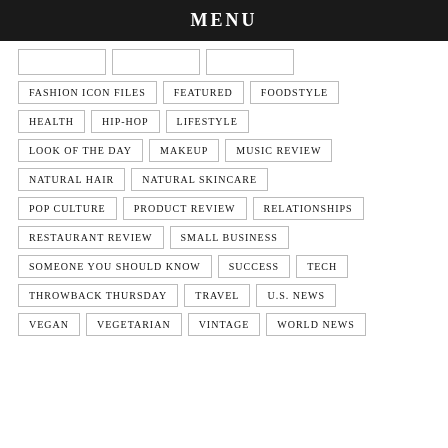MENU
FASHION ICON FILES
FEATURED
FOODSTYLE
HEALTH
HIP-HOP
LIFESTYLE
LOOK OF THE DAY
MAKEUP
MUSIC REVIEW
NATURAL HAIR
NATURAL SKINCARE
POP CULTURE
PRODUCT REVIEW
RELATIONSHIPS
RESTAURANT REVIEW
SMALL BUSINESS
SOMEONE YOU SHOULD KNOW
SUCCESS
TECH
THROWBACK THURSDAY
TRAVEL
U.S. NEWS
VEGAN
VEGETARIAN
VINTAGE
WORLD NEWS